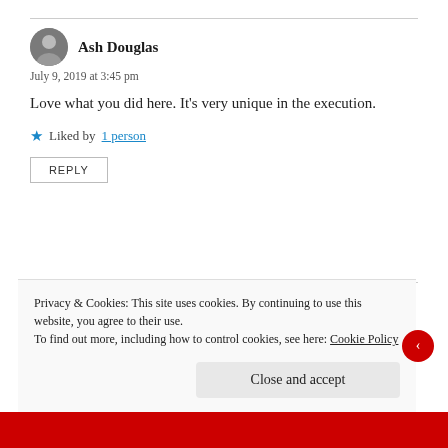Ash Douglas
July 9, 2019 at 3:45 pm
Love what you did here. It's very unique in the execution.
★ Liked by 1 person
REPLY
Watt
July 9, 2019 at 3:56 pm
Privacy & Cookies: This site uses cookies. By continuing to use this website, you agree to their use.
To find out more, including how to control cookies, see here: Cookie Policy
Close and accept